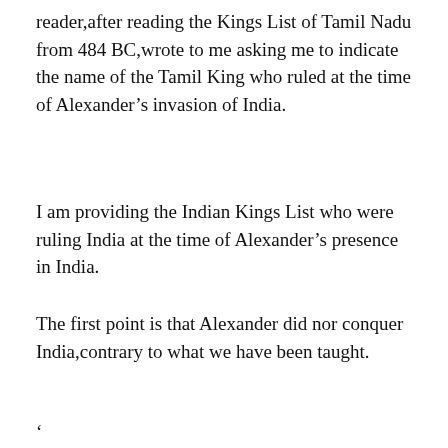reader,after reading the Kings List of Tamil Nadu from 484 BC,wrote to me asking me to indicate the name of the Tamil King who ruled at the time of Alexander’s invasion of India.
I am providing the Indian Kings List who were ruling India at the time of Alexander’s presence in India.
The first point is that Alexander did nor conquer India,contrary to what we have been taught.
‘